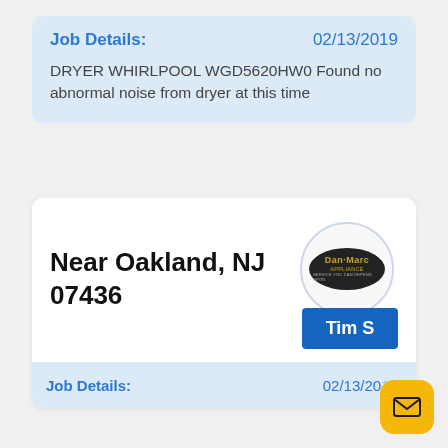Job Details:   02/13/2019
DRYER WHIRLPOOL WGD5620HW0 Found no abnormal noise from dryer at this time
Near Oakland, NJ 07436
[Figure (logo): Dan-Marc Appliance logo — dark oval with gold text]
Tim S
Job Details:   02/13/20...